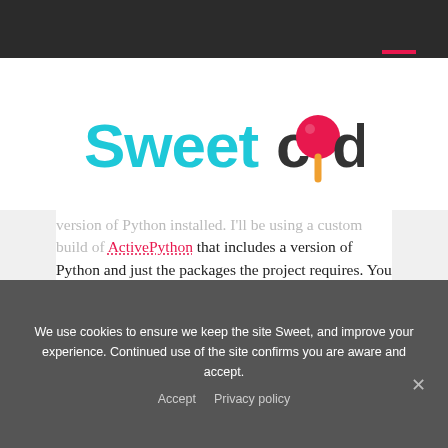[Figure (logo): Sweetcode logo with cyan 'Sweet' text and dark 'code' text, with a red lollipop replacing the 'o' in code]
version of Python installed. I'll be using a custom build of ActivePython that includes a version of Python and just the packages the project requires. You can get a copy for yourself by doing the following:
1.  Download and install
We use cookies to ensure we keep the site Sweet, and improve your experience. Continued use of the site confirms you are aware and accept.
Accept   Privacy policy